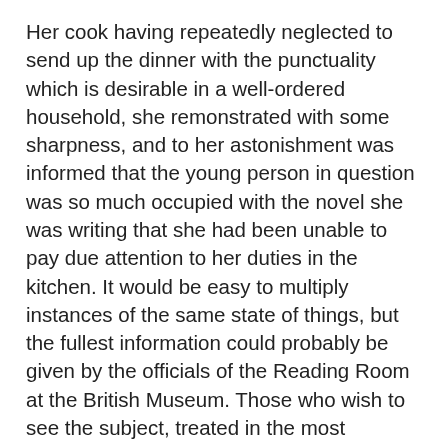Her cook having repeatedly neglected to send up the dinner with the punctuality which is desirable in a well-ordered household, she remonstrated with some sharpness, and to her astonishment was informed that the young person in question was so much occupied with the novel she was writing that she had been unable to pay due attention to her duties in the kitchen. It would be easy to multiply instances of the same state of things, but the fullest information could probably be given by the officials of the Reading Room at the British Museum. Those who wish to see the subject, treated in the most amusing light, however, may be referred to a clever novel of the 'Besant and Rice' series, which has for title 'With Harp and Crown,' and in which real and well known persons are described under feigned names.
From writers of this type it is, of course, hopeless to expect work of any high pretension, nor as a matter of fact is it to be found. But if the literary level of the weekly press be low, its morals are irreproachable. Fortunately it has been found out immorality and indecency do not pay. Not merely is Lord Campbell's Act a stringent one, stringently enforced, but the feeling of the public is distinctly against nastiness of the kind